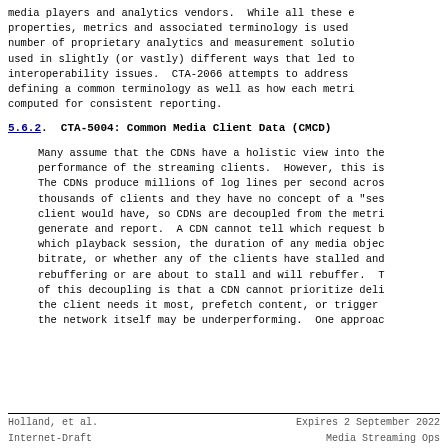media players and analytics vendors.  While all these e properties, metrics and associated terminology is used number of proprietary analytics and measurement solutio used in slightly (or vastly) different ways that led to interoperability issues.  CTA-2066 attempts to address defining a common terminology as well as how each metri computed for consistent reporting.
5.6.2.  CTA-5004: Common Media Client Data (CMCD)
Many assume that the CDNs have a holistic view into the performance of the streaming clients.  However, this is The CDNs produce millions of log lines per second acros thousands of clients and they have no concept of a "ses client would have, so CDNs are decoupled from the metri generate and report.  A CDN cannot tell which request b which playback session, the duration of any media objec bitrate, or whether any of the clients have stalled and rebuffering or are about to stall and will rebuffer.  T of this decoupling is that a CDN cannot prioritize deli the client needs it most, prefetch content, or trigger the network itself may be underperforming.  One approac
Holland, et al.          Expires 2 September 2022
Internet-Draft           Media Streaming Ops